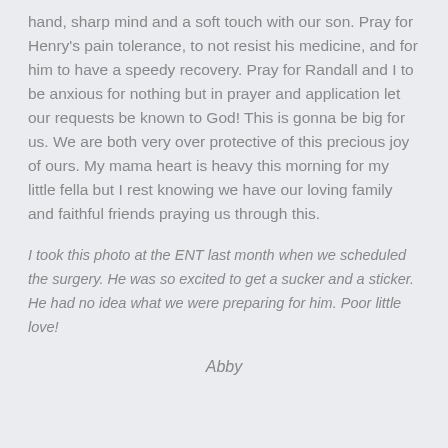hand, sharp mind and a soft touch with our son. Pray for Henry's pain tolerance, to not resist his medicine, and for him to have a speedy recovery. Pray for Randall and I to be anxious for nothing but in prayer and application let our requests be known to God! This is gonna be big for us. We are both very over protective of this precious joy of ours. My mama heart is heavy this morning for my little fella but I rest knowing we have our loving family and faithful friends praying us through this.
I took this photo at the ENT last month when we scheduled the surgery. He was so excited to get a sucker and a sticker. He had no idea what we were preparing for him. Poor little love!
Abby